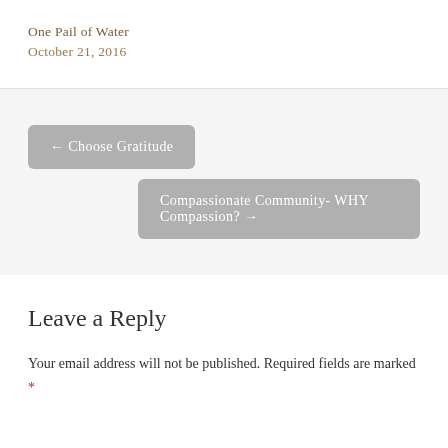One Pail of Water
October 21, 2016
← Choose Gratitude
Compassionate Community- WHY Compassion? →
Leave a Reply
Your email address will not be published. Required fields are marked *